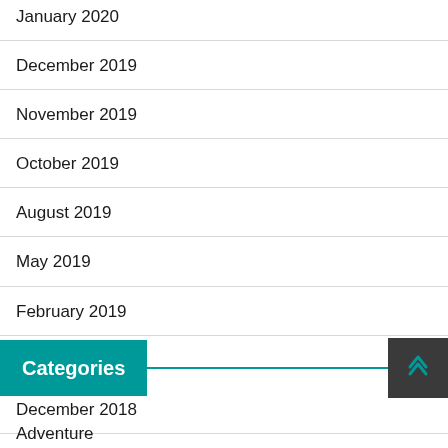January 2020
December 2019
November 2019
October 2019
August 2019
May 2019
February 2019
January 2019
December 2018
Categories
Adventure